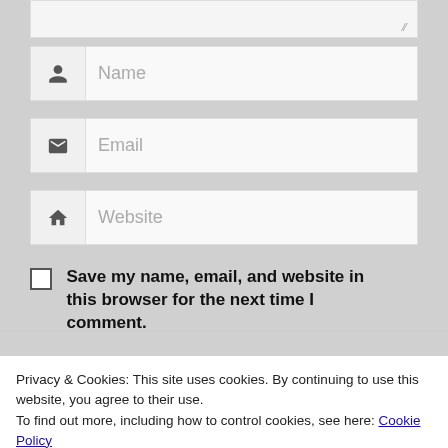[Figure (screenshot): Textarea input field stub at top of form, partially visible with resize handle]
[Figure (screenshot): Name input field with person icon]
[Figure (screenshot): Email input field with envelope icon]
[Figure (screenshot): Website input field with house/home icon]
Save my name, email, and website in this browser for the next time I comment.
[Figure (screenshot): reCAPTCHA widget with checkbox and 'I'm not a robot' text]
Privacy & Cookies: This site uses cookies. By continuing to use this website, you agree to their use.
To find out more, including how to control cookies, see here: Cookie Policy
Close and accept